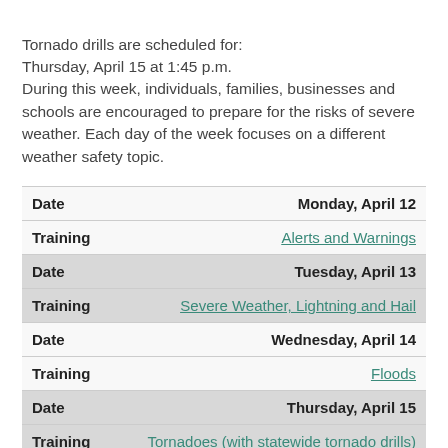Tornado drills are scheduled for:
Thursday, April 15 at 1:45 p.m.
During this week, individuals, families, businesses and schools are encouraged to prepare for the risks of severe weather. Each day of the week focuses on a different weather safety topic.
|  |  |
| --- | --- |
| Date | Monday, April 12 |
| Training | Alerts and Warnings |
| Date | Tuesday, April 13 |
| Training | Severe Weather, Lightning and Hail |
| Date | Wednesday, April 14 |
| Training | Floods |
| Date | Thursday, April 15 |
| Training | Tornadoes (with statewide tornado drills) |
| Date | Friday, April 16 |